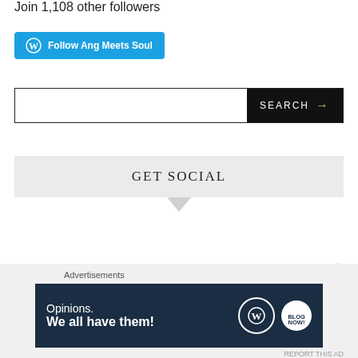Join 1,108 other followers
[Figure (screenshot): Teal WordPress Follow button labeled 'Follow Ang Meets Soul']
[Figure (screenshot): Search bar with black SEARCH button and gold arrow]
GET SOCIAL
[Figure (screenshot): WordPress advertisement banner: 'Opinions. We all have them!' with WordPress and NOW logos]
Advertisements
REPORT THIS AD